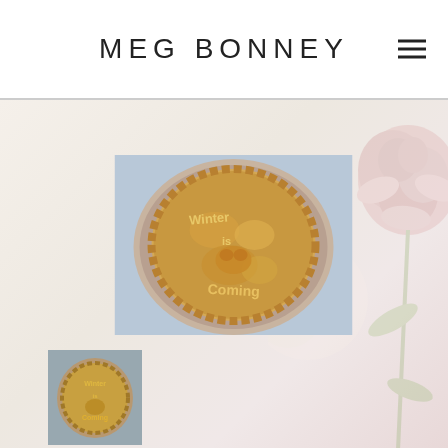MEG BONNEY
[Figure (photo): A baked pie in a ceramic dish, top crust decorated with letters reading 'Winter is Coming' and a direwolf shape, photographed from above]
[Figure (photo): Smaller thumbnail of the same 'Winter is Coming' pie, aerial view]
[Figure (photo): Smaller thumbnail of another decorative pie with lattice-style crust design]